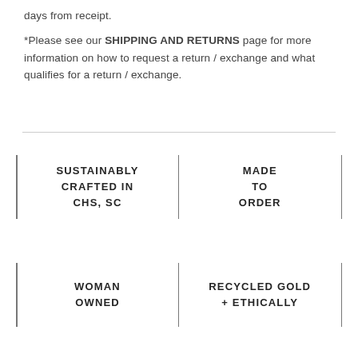days from receipt.
*Please see our SHIPPING AND RETURNS page for more information on how to request a return / exchange and what qualifies for a return / exchange.
SUSTAINABLY CRAFTED IN CHS, SC
MADE TO ORDER
WOMAN OWNED
RECYCLED GOLD + ETHICALLY